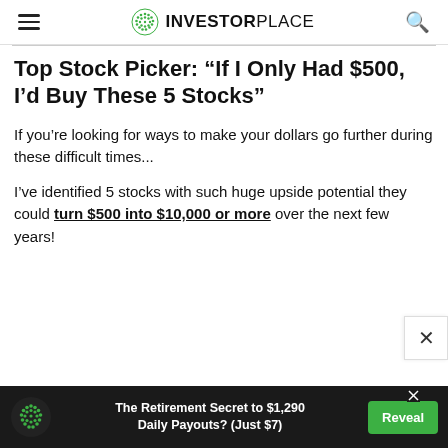InvestorPlace
Top Stock Picker: “If I Only Had $500, I’d Buy These 5 Stocks”
If you’re looking for ways to make your dollars go further during these difficult times...
I’ve identified 5 stocks with such huge upside potential they could turn $500 into $10,000 or more over the next few years!
[Figure (infographic): Advertisement banner: dark background with green dotted circle logo, text reading 'The Retirement Secret to $1,290 Daily Payouts? (Just $7)' and a green Reveal button]